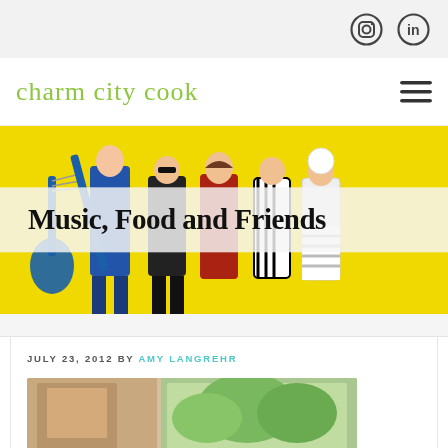Instagram and LinkedIn icons
charm city cook
[Figure (photo): Hero banner showing a band of people against a yellow background with guitars and striped patterns]
Music, Food and Friends
JULY 23, 2012 BY AMY LANGREHR
[Figure (photo): Partial interior room photo with wood furniture visible on left and green trees outside a window on the right]